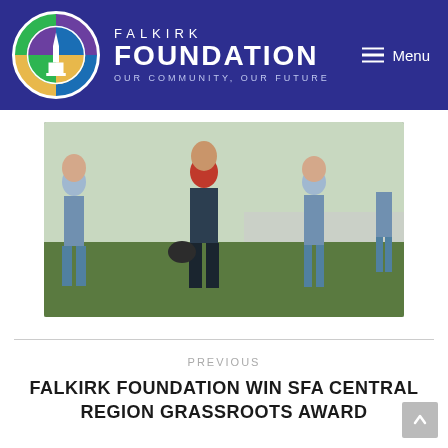[Figure (logo): Falkirk Foundation logo — circular emblem with multicolored segments (purple, blue, gold, green) and white steeple/tower silhouette inside, alongside text 'FALKIRK FOUNDATION — OUR COMMUNITY, OUR FUTURE']
[Figure (photo): Football/soccer scene showing players in light blue kits and a person in a red top carrying a sports bag on a grass pitch]
PREVIOUS
FALKIRK FOUNDATION WIN SFA CENTRAL REGION GRASSROOTS AWARD